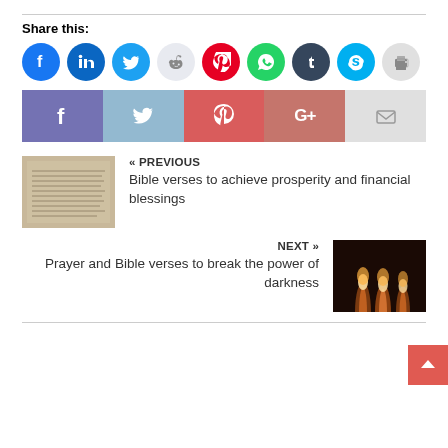Share this:
[Figure (infographic): Row of circular social media share icons: Facebook (blue), LinkedIn (blue), Twitter (light blue), Reddit (light gray), Pinterest (red), WhatsApp (green), Tumblr (dark navy), Skype (light blue), Print (light gray)]
[Figure (infographic): Row of rectangular social share buttons: Facebook (purple), Twitter (light blue), Pinterest (red-pink), Google+ (salmon/red), Email (light gray with envelope icon)]
[Figure (photo): Thumbnail image of an old handwritten or printed Bible page document]
« PREVIOUS
Bible verses to achieve prosperity and financial blessings
[Figure (photo): Thumbnail photo of candles burning in darkness]
NEXT »
Prayer and Bible verses to break the power of darkness